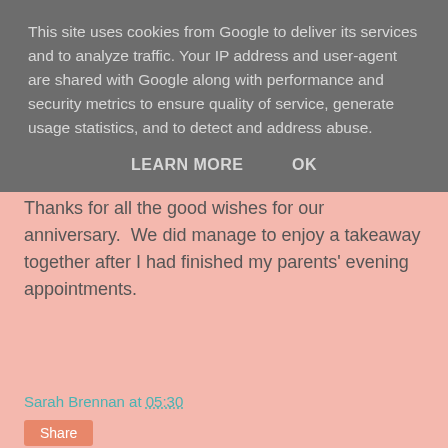This site uses cookies from Google to deliver its services and to analyze traffic. Your IP address and user-agent are shared with Google along with performance and security metrics to ensure quality of service, generate usage statistics, and to detect and address abuse.
LEARN MORE    OK
Thanks for all the good wishes for our anniversary.  We did manage to enjoy a takeaway together after I had finished my parents' evening appointments.
Sarah Brennan at 05:30
Share
27 comments: